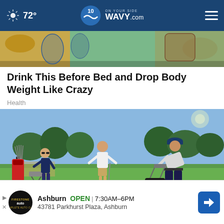72° | WAVY.com On Your Side
[Figure (photo): Cropped top portion of an article image showing leaves and glass containers]
Drink This Before Bed and Drop Body Weight Like Crazy
Health
[Figure (photo): Golf course scene with several people practicing. A man in white shirt and khaki shorts stands on green grass. Another man in blue cap and light shirt bends forward near a chair. Golf bags and equipment visible on left. Trees and clear blue sky in background. An advertisement overlay is visible at bottom showing Firestone Auto Care: Ashburn OPEN 7:30AM-6PM, 43781 Parkhurst Plaza, Ashburn.]